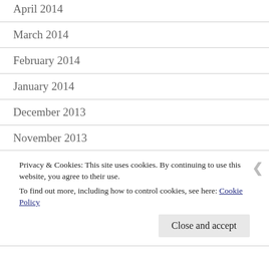April 2014
March 2014
February 2014
January 2014
December 2013
November 2013
October 2013
Privacy & Cookies: This site uses cookies. By continuing to use this website, you agree to their use.
To find out more, including how to control cookies, see here: Cookie Policy
Close and accept